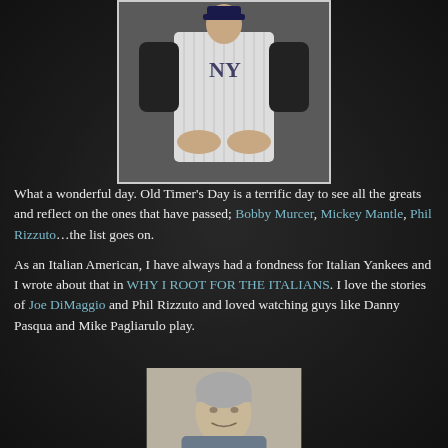[Figure (photo): Baseball player in New York Yankees pinstripe uniform, crouching/sitting pose, black and white or color photo]
What a wonderful day. Old Timer's Day is a terrific day to see all the greats and reflect on the ones that have passed; Bobby Murcer, Mickey Mantle, Phil Rizzuto…the list goes on.
As an Italian American, I have always had a fondness for Italian Yankees and I wrote about that in WHY I ROOT FOR THE ITALIANS. I love the stories of Joe DiMaggio and Phil Rizzuto and loved watching guys like Danny Pasqua and Mike Pagliarulo play.
[Figure (photo): Headshot of an older man with gray hair against a neutral background]